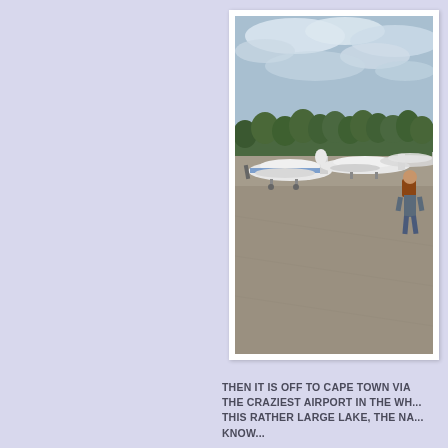[Figure (photo): A person with a backpack walking across a tarmac apron toward several small propeller and light jet aircraft parked on the runway. Green trees visible in the background under a partly cloudy sky.]
THEN IT IS OFF TO CAPE TOWN VIA THE CRAZIEST AIRPORT IN THE WH... THIS RATHER LARGE LAKE, THE NA... KNOW...